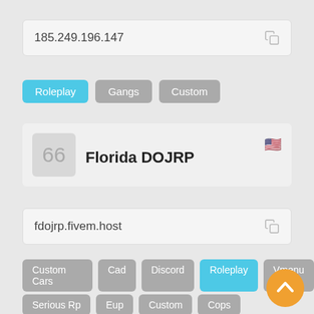185.249.196.147
Roleplay
Gangs
Custom
66  Florida DOJRP
fdojrp.fivem.host
Custom Cars
Cad
Discord
Roleplay
Vmenu
Serious Rp
Eup
Custom
Cops
69  FAROLSTATE.pt
188.93.234.45:30120